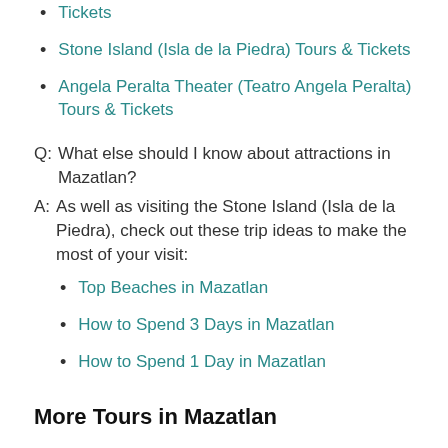Tickets
Stone Island (Isla de la Piedra) Tours & Tickets
Angela Peralta Theater (Teatro Angela Peralta) Tours & Tickets
Q:  What else should I know about attractions in Mazatlan?
A:  As well as visiting the Stone Island (Isla de la Piedra), check out these trip ideas to make the most of your visit:
Top Beaches in Mazatlan
How to Spend 3 Days in Mazatlan
How to Spend 1 Day in Mazatlan
More Tours in Mazatlan